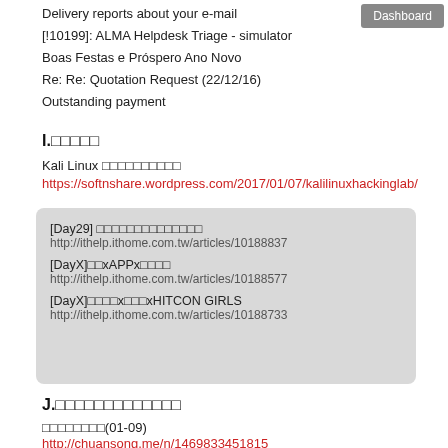Dashboard
Delivery reports about your e-mail
[!10199]: ALMA Helpdesk Triage - simulator
Boas Festas e Próspero Ano Novo
Re: Re: Quotation Request (22/12/16)
Outstanding payment
I.□□□□□
Kali Linux □□□□□□□□□□
https://softnshare.wordpress.com/2017/01/07/kalilinuxhackinglab/
[Day29] □□□□□□□□□□□□□□
http://ithelp.ithome.com.tw/articles/10188837
[DayX]□□xAPPx□□□□
http://ithelp.ithome.com.tw/articles/10188577
[DayX]□□□□x□□□xHITCON GIRLS
http://ithelp.ithome.com.tw/articles/10188733
J.□□□□□□□□□□□□□
□□□□□□□□(01-09)
http://chuansong.me/n/1469833451815